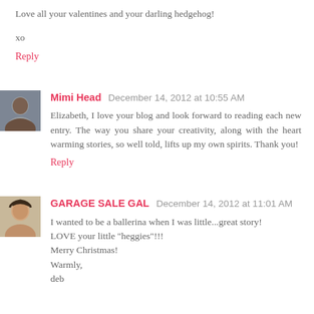Love all your valentines and your darling hedgehog!
xo
Reply
Mimi Head  December 14, 2012 at 10:55 AM
Elizabeth, I love your blog and look forward to reading each new entry. The way you share your creativity, along with the heart warming stories, so well told, lifts up my own spirits. Thank you!
Reply
GARAGE SALE GAL  December 14, 2012 at 11:01 AM
I wanted to be a ballerina when I was little...great story!
LOVE your little "heggies"!!!
Merry Christmas!
Warmly,
deb